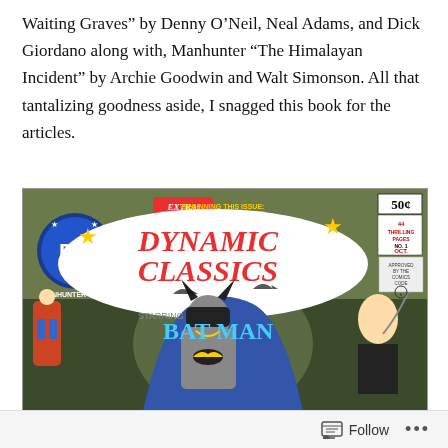Waiting Graves” by Denny O’Neil, Neal Adams, and Dick Giordano along with, Manhunter “The Himalayan Incident” by Archie Goodwin and Walt Simonson. All that tantalizing goodness aside, I snagged this book for the articles.
[Figure (photo): Comic book cover of Dynamic Classics No. 1, starring Batman. Features DC logo, '50¢' price, '44 Thrilling Pages', 'Extra! Beginning This Issue: The Highly-Acclaimed Manhunter Series!', stars, 'Starring Bat Man' text, Batman in blue/grey costume in foreground, a female villain with whip on right, Manhunter character on left side. Dark atmospheric background.]
Follow •••